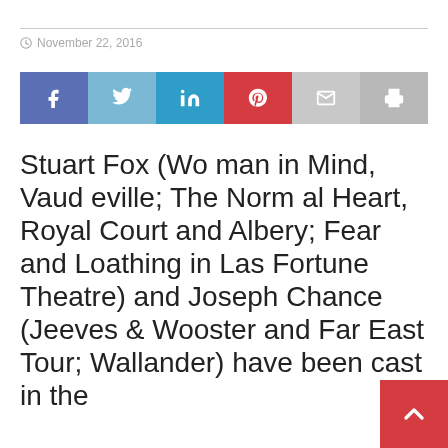November 22, 2016
[Figure (infographic): Social share bar with buttons: Facebook, Twitter, LinkedIn, Pinterest, Email, Print]
Stuart Fox (Woman in Mind, Vaudeville; The Normal Heart, Royal Court and Albery; Fear and Loathing in Las Fortune Theatre) and Joseph Chance (Jeeves & Wooster and Far East Tour; Wallander) have been cast in the